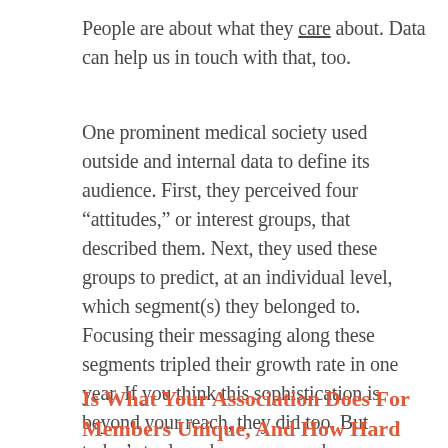People are about what they care about. Data can help us in touch with that, too.
One prominent medical society used outside and internal data to define its audience. First, they perceived four “attitudes,” or interest groups, that described them. Next, they used these groups to predict, at an individual level, which segment(s) they belonged to. Focusing their messaging along these segments tripled their growth rate in one year. If you think this sophistication is beyond your reach, they did too. But today’s tools and resources make yesterday’s impossible the table stakes of today.
Is What Your Association Does For Members Unique, And How Hard Would It Be To